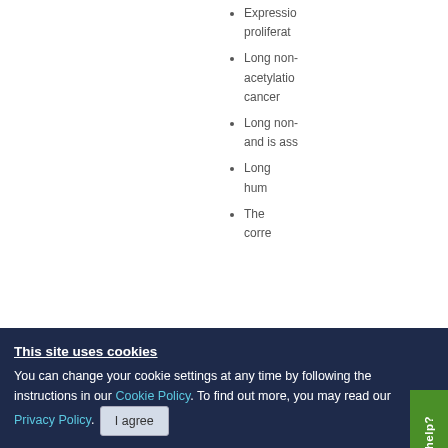Expression... proliferat...
Long non- ... acetylatio... cancer
Long non- ... and is ass...
Long... hum...
The ... corre...
Need help?
This site uses cookies
You can change your cookie settings at any time by following the instructions in our Cookie Policy. To find out more, you may read our Privacy Policy.
I agree